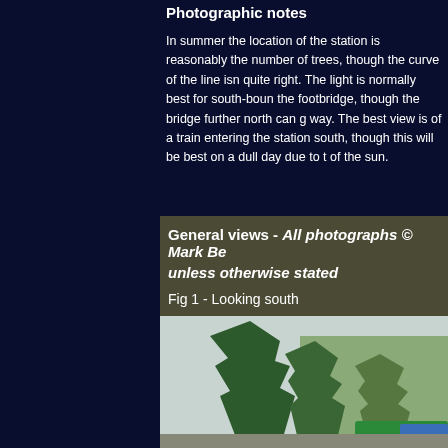Photographic notes
In summer the location of the station is reasonably the number of trees, though the curve of the line isn quite right. The light is normally best for south-boun the footbridge, though the bridge further north can g way. The best view is of a train entering the station south, though this will be best on a dull day due to t of the sun.
General views - All photographs © Mark Be unless otherwise stated

Fig 1 - Looking south
[Figure (photo): Photograph looking south at a railway station, showing large green conifer trees on the left and a train visible on the right side, with an overcast sky.]